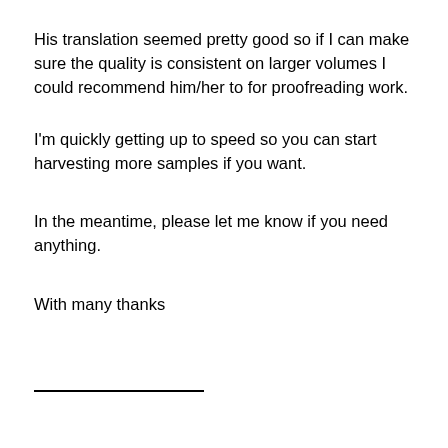His translation seemed pretty good so if I can make sure the quality is consistent on larger volumes I could recommend him/her to for proofreading work.
I'm quickly getting up to speed so you can start harvesting more samples if you want.
In the meantime, please let me know if you need anything.
With many thanks
_________________.